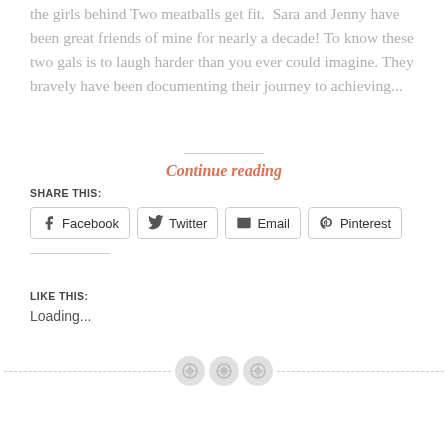the girls behind Two meatballs get fit.  Sara and Jenny have been great friends of mine for nearly a decade! To know these two gals is to laugh harder than you ever could imagine. They bravely have been documenting their journey to achieving...
Continue reading
SHARE THIS:
Facebook
Twitter
Email
Pinterest
LIKE THIS:
Loading...